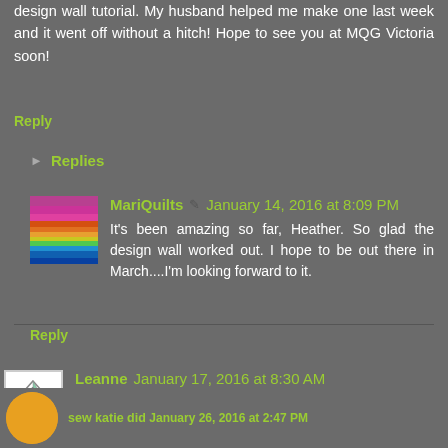design wall tutorial. My husband helped me make one last week and it went off without a hitch! Hope to see you at MQG Victoria soon!
Reply
Replies
MariQuilts  January 14, 2016 at 8:09 PM
It's been amazing so far, Heather. So glad the design wall worked out. I hope to be out there in March....I'm looking forward to it.
Reply
Leanne  January 17, 2016 at 8:30 AM
I love the quilt, and the renos are looking wonderful!
Reply
sew katie did  January 26, 2016 at 2:47 PM